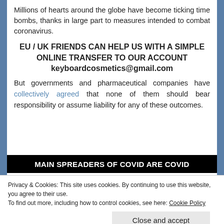Millions of hearts around the globe have become ticking time bombs, thanks in large part to measures intended to combat coronavirus.
EU / UK FRIENDS CAN HELP US WITH A SIMPLE ONLINE TRANSFER TO OUR ACCOUNT
keyboardcosmetics@gmail.com
But governments and pharmaceutical companies have collectively agreed that none of them should bear responsibility or assume liability for any of these outcomes.
MAIN SPREADERS OF COVID ARE COVID
Privacy & Cookies: This site uses cookies. By continuing to use this website, you agree to their use.
To find out more, including how to control cookies, see here: Cookie Policy
Close and accept